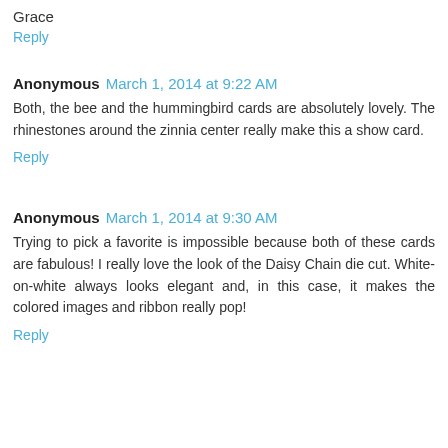Grace
Reply
Anonymous  March 1, 2014 at 9:22 AM
Both, the bee and the hummingbird cards are absolutely lovely. The rhinestones around the zinnia center really make this a show card.
Reply
Anonymous  March 1, 2014 at 9:30 AM
Trying to pick a favorite is impossible because both of these cards are fabulous! I really love the look of the Daisy Chain die cut. White-on-white always looks elegant and, in this case, it makes the colored images and ribbon really pop!
Reply